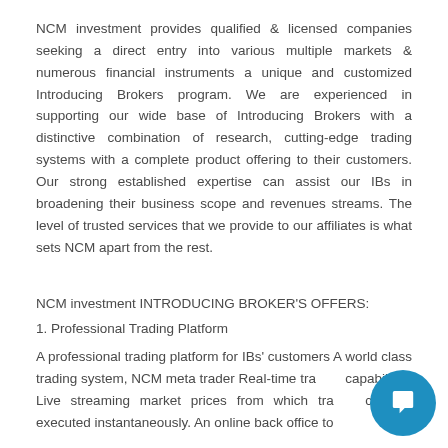NCM investment provides qualified & licensed companies seeking a direct entry into various multiple markets & numerous financial instruments a unique and customized Introducing Brokers program. We are experienced in supporting our wide base of Introducing Brokers with a distinctive combination of research, cutting-edge trading systems with a complete product offering to their customers. Our strong established expertise can assist our IBs in broadening their business scope and revenues streams. The level of trusted services that we provide to our affiliates is what sets NCM apart from the rest.
NCM investment INTRODUCING BROKER'S OFFERS:
1. Professional Trading Platform
A professional trading platform for IBs' customers A world class trading system, NCM meta trader Real-time trading capabilities Live streaming market prices from which trades can be executed instantaneously. An online back office to